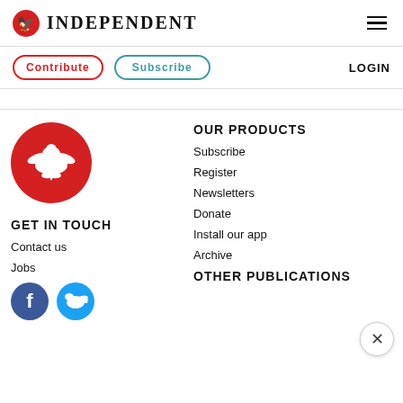INDEPENDENT
Contribute
Subscribe
LOGIN
[Figure (logo): Independent eagle logo in red circle]
GET IN TOUCH
Contact us
Jobs
OUR PRODUCTS
Subscribe
Register
Newsletters
Donate
Install our app
Archive
OTHER PUBLICATIONS